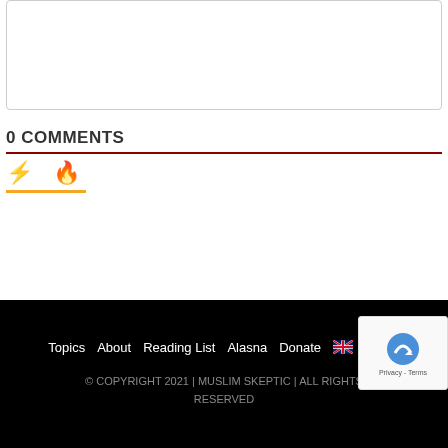[Figure (other): Empty comment text input box with rounded border]
0 COMMENTS
[Figure (other): Lightning bolt icon (yellow) and fire icon (orange-red) tab icons with orange underline]
Topics   About   Reading List   Alasna   Donate   🇬🇧 English
© COPYRIGHT 2021 | MUSLIM SKEPTIC | ALL RIGHTS RESERVED